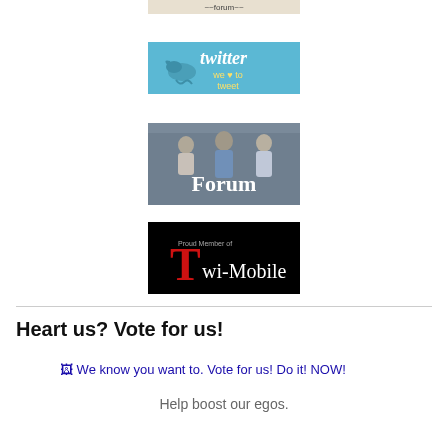[Figure (illustration): Partial banner image at top, appears to be a website banner (cut off at top)]
[Figure (illustration): Twitter banner image with bird logo and text 'twitter we love to tweet' on blue background]
[Figure (illustration): Forum banner image showing group of people (Twilight characters) with text 'Forum' overlaid]
[Figure (illustration): Twi-Mobile banner image with black background, red T and text 'Proud Member of Twi-Mobile']
Heart us? Vote for us!
[Figure (illustration): Broken image placeholder with alt text: We know you want to. Vote for us! Do it! NOW!]
Help boost our egos.